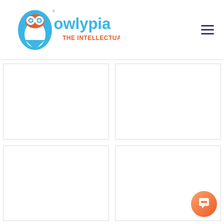[Figure (logo): Owlypia logo with owl icon in blue and orange, with tagline 'The Intellectuals' Challenge' in orange]
[Figure (other): Empty white content box, top-left grid cell]
[Figure (other): Empty white content box, top-right grid cell]
[Figure (other): Empty white content box, bottom-left grid cell]
[Figure (other): Empty white content box, bottom-right grid cell]
[Figure (illustration): Orange circular chat/support button in bottom-right corner with speech bubble icon]